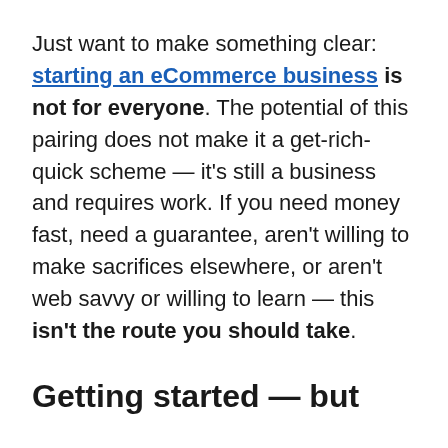Just want to make something clear: starting an eCommerce business is not for everyone. The potential of this pairing does not make it a get-rich-quick scheme — it's still a business and requires work. If you need money fast, need a guarantee, aren't willing to make sacrifices elsewhere, or aren't web savvy or willing to learn — this isn't the route you should take.
Getting started — but